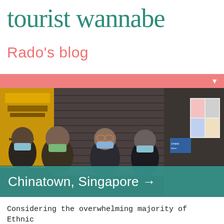tourist wannabe
Rado's blog
[Figure (other): Pink/salmon navigation bar with a white downward-pointing triangle arrow on the right side]
[Figure (photo): Street scene in Chinatown, Singapore, showing several people wearing blue face masks walking past closed shopfronts with metal shutters. A yellow shopfront with 'NO TOUTING' signage is visible on the left. The scene is dark and atmospheric.]
Chinatown, Singapore →
Considering the overwhelming majority of Ethnic